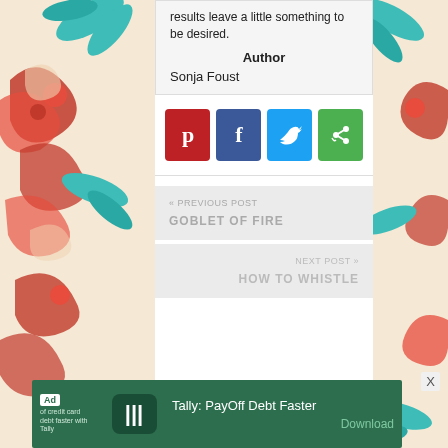Pintester's borax snowflake results leave a little something to be desired.
Author
Sonja Foust
[Figure (other): Social sharing icons row: Pinterest (red), Facebook (blue), Twitter (light blue), Share (green)]
« PREVIOUS POST
GOBLET OF FIRE
NEXT POST »
HOW TO WHISTLE
[Figure (other): Advertisement banner: Ad badge, credit card debt faster with Tally, Tally PayOff Debt Faster, Download button]